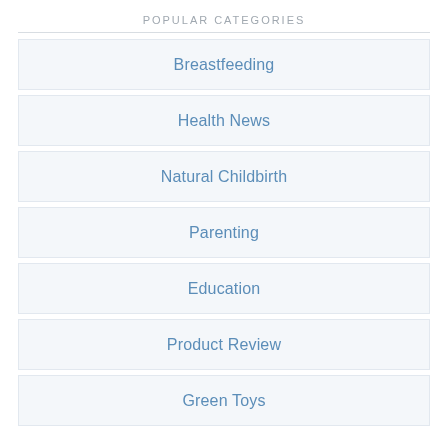POPULAR CATEGORIES
Breastfeeding
Health News
Natural Childbirth
Parenting
Education
Product Review
Green Toys